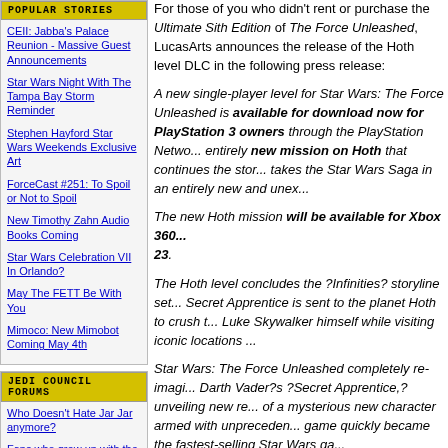POPULAR STORIES
CEII: Jabba's Palace Reunion - Massive Guest Announcements
Star Wars Night With The Tampa Bay Storm Reminder
Stephen Hayford Star Wars Weekends Exclusive Art
ForceCast #251: To Spoil or Not to Spoil
New Timothy Zahn Audio Books Coming
Star Wars Celebration VII In Orlando?
May The FETT Be With You
Mimoco: New Mimobot Coming May 4th
JEDI COUNCIL FORUMS
Who Doesn't Hate Jar Jar anymore?
Fans who grew up with the OT-Do any of you actually prefer the PT?
Should darth maul have died?
What plotline, character or...
For those of you who didn't rent or purchase the Ultimate Sith Edition of The Force Unleashed, LucasArts announces the release of the Hoth level DLC in the following press release:
A new single-player level for Star Wars: The Force Unleashed is available for download now for PlayStation 3 owners through the PlayStation Network. entirely new mission on Hoth that continues the stor... takes the Star Wars Saga in an entirely new and unex...
The new Hoth mission will be available for Xbox 360... 23.
The Hoth level concludes the ?Infinities? storyline set... Secret Apprentice is sent to the planet Hoth to crush t... Luke Skywalker himself while visiting iconic locations ...
Star Wars: The Force Unleashed completely re-imagi... Darth Vader?s ?Secret Apprentice,? unveiling new re... of a mysterious new character armed with unpreceden... game quickly became the fastest-selling Star Wars ga...
Star Wars: The Force Unleashed II was recently anno...
More information about Star Wars: The Force Unleash... http://www.lucasarts.com/games/theforceunleashed/
Information about Star Wars: The Force Unleashed II...